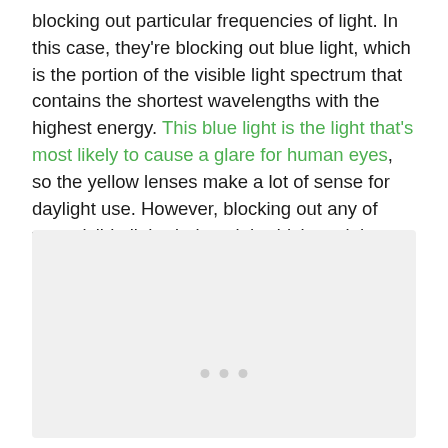blocking out particular frequencies of light. In this case, they're blocking out blue light, which is the portion of the visible light spectrum that contains the shortest wavelengths with the highest energy. This blue light is the light that's most likely to cause a glare for human eyes, so the yellow lenses make a lot of sense for daylight use. However, blocking out any of your visible light during night driving might not be the best idea.
[Figure (other): Image placeholder with three gray dots indicating a loading or carousel indicator at the bottom of a light gray image area.]